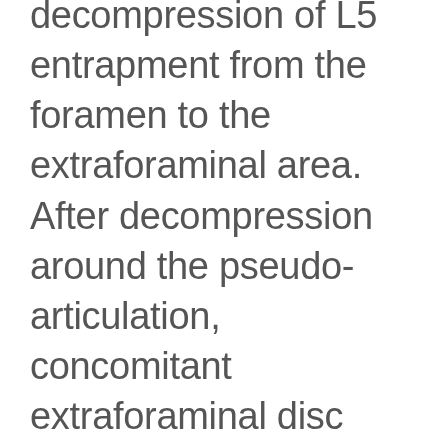decompression of L5 entrapment from the foramen to the extraforaminal area. After decompression around the pseudo-articulation, concomitant extraforaminal disc herniation should be explored and removed for optimal decompression of